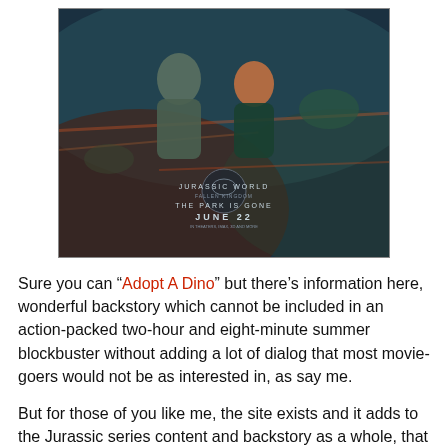[Figure (photo): Jurassic World: Fallen Kingdom movie poster showing two actors running from dinosaurs with text 'THE PARK IS GONE' and 'JUNE 22']
Sure you can “Adopt A Dino” but there’s information here, wonderful backstory which cannot be included in an action-packed two-hour and eight-minute summer blockbuster without adding a lot of dialog that most movie-goers would not be as interested in, as say me.
But for those of you like me, the site exists and it adds to the Jurassic series content and backstory as a whole, that equals at least another film or two in the series as far as depth and